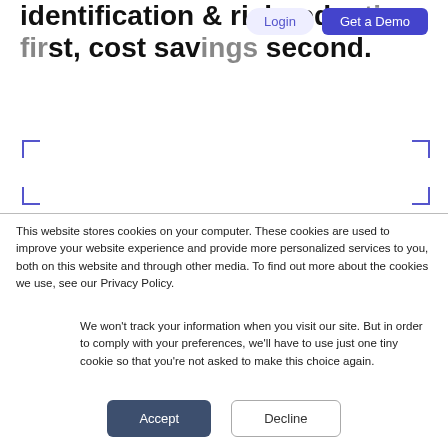identification & risk reduction first, cost savings second.
[Figure (screenshot): Navigation bar with Login and Get a Demo buttons]
[Figure (other): Corner bracket marks outlining an empty content area]
This website stores cookies on your computer. These cookies are used to improve your website experience and provide more personalized services to you, both on this website and through other media. To find out more about the cookies we use, see our Privacy Policy.
We won't track your information when you visit our site. But in order to comply with your preferences, we'll have to use just one tiny cookie so that you're not asked to make this choice again.
Accept
Decline